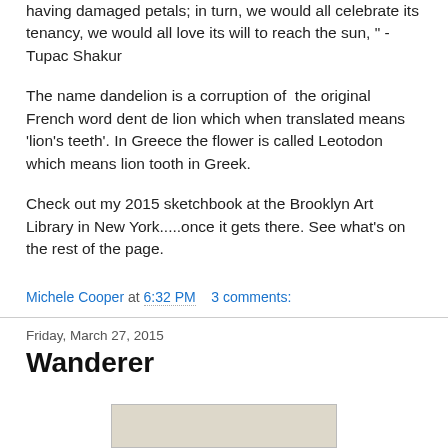having damaged petals; in turn, we would all celebrate its tenacity, we would all love its will to reach the sun, " - Tupac Shakur
The name dandelion is a corruption of the original French word dent de lion which when translated means 'lion's teeth'. In Greece the flower is called Leotodon which means lion tooth in Greek.
Check out my 2015 sketchbook at the Brooklyn Art Library in New York.....once it gets there. See what's on the rest of the page.
Michele Cooper at 6:32 PM   3 comments:
Friday, March 27, 2015
Wanderer
[Figure (photo): Partial view of a photo at the bottom of the page]